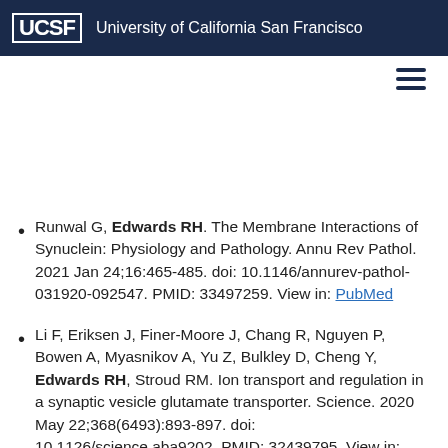UCSF University of California San Francisco
Runwal G, Edwards RH. The Membrane Interactions of Synuclein: Physiology and Pathology. Annu Rev Pathol. 2021 Jan 24;16:465-485. doi: 10.1146/annurev-pathol-031920-092547. PMID: 33497259. View in: PubMed
Li F, Eriksen J, Finer-Moore J, Chang R, Nguyen P, Bowen A, Myasnikov A, Yu Z, Bulkley D, Cheng Y, Edwards RH, Stroud RM. Ion transport and regulation in a synaptic vesicle glutamate transporter. Science. 2020 May 22;368(6493):893-897. doi: 10.1126/science.aba9202. PMID: 32439795. View in: